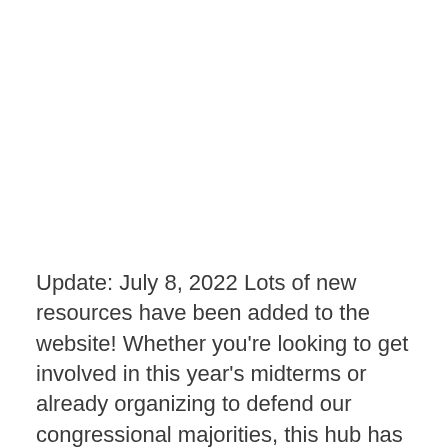Update: July 8, 2022 Lots of new resources have been added to the website! Whether you're looking to get involved in this year's midterms or already organizing to defend our congressional majorities, this hub has all the tools and information you'll need between now and November. We've included instructions for downloading and troubleshooting critical voter